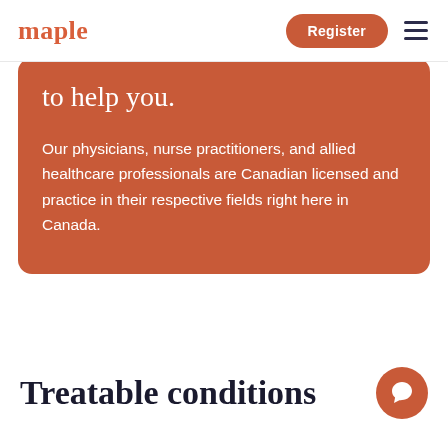maple  Register ≡
to help you.
Our physicians, nurse practitioners, and allied healthcare professionals are Canadian licensed and practice in their respective fields right here in Canada.
Treatable conditions